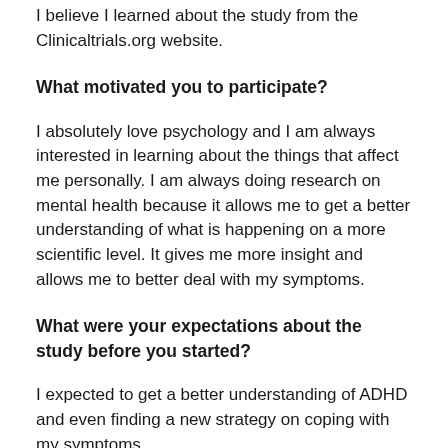I believe I learned about the study from the Clinicaltrials.org website.
What motivated you to participate?
I absolutely love psychology and I am always interested in learning about the things that affect me personally. I am always doing research on mental health because it allows me to get a better understanding of what is happening on a more scientific level. It gives me more insight and allows me to better deal with my symptoms.
What were your expectations about the study before you started?
I expected to get a better understanding of ADHD and even finding a new strategy on coping with my symptoms.
Which intervention did you participate in, when?